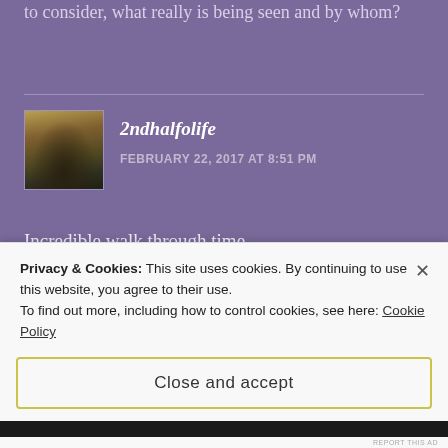to consider, what really is being seen and by whom?
2ndhalfolife
FEBRUARY 22, 2017 AT 8:51 PM
Incredible walk through time....
REPORT THIS AD
Privacy & Cookies: This site uses cookies. By continuing to use this website, you agree to their use.
To find out more, including how to control cookies, see here: Cookie Policy
Close and accept